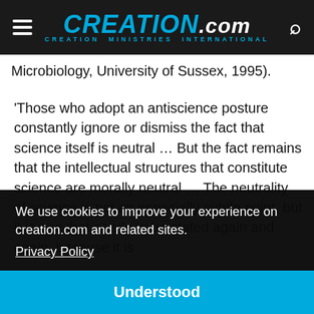CREATION.com — CREATION MINISTRIES INTERNATIONAL
Microbiology, University of Sussex, 1995).
'Those who adopt an antiscience posture constantly ignore or dismiss the fact that science itself is neutral … But the fact remains that the intellectual structures that constitute science are morally neutral … The neutrality of science is not an especially subtle point, but it is one that needs to be stated again and again, because it is
We use cookies to improve your experience on creation.com and related sites.
Privacy Policy
Understood